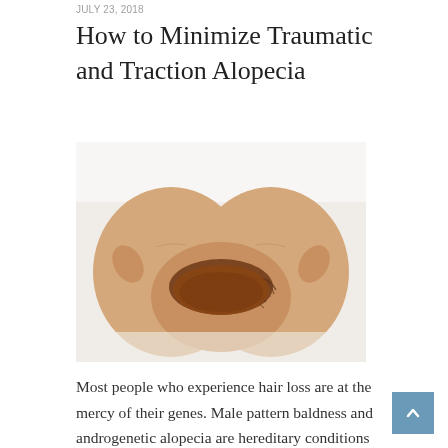JULY 23, 2018
How to Minimize Traumatic and Traction Alopecia
[Figure (photo): Two cupped hands holding a clump of brown hair, person wearing white clothing in background, photo related to hair loss]
Most people who experience hair loss are at the mercy of their genes. Male pattern baldness and androgenetic alopecia are hereditary conditions and